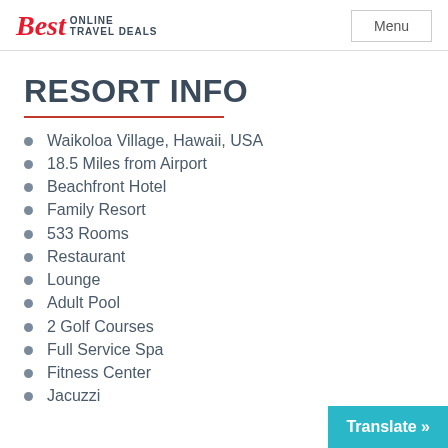Best ONLINE TRAVEL DEALS | Menu
RESORT INFO
Waikoloa Village, Hawaii, USA
18.5 Miles from Airport
Beachfront Hotel
Family Resort
533 Rooms
Restaurant
Lounge
Adult Pool
2 Golf Courses
Full Service Spa
Fitness Center
Jacuzzi